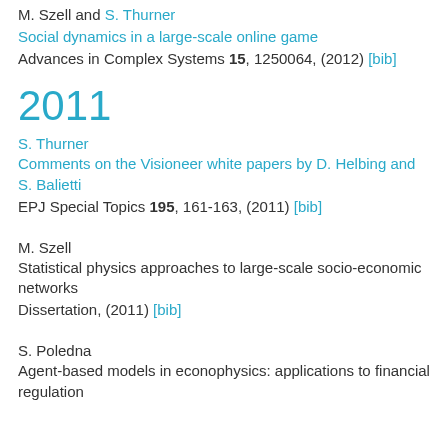M. Szell and S. Thurner
Social dynamics in a large-scale online game
Advances in Complex Systems 15, 1250064, (2012) [bib]
2011
S. Thurner
Comments on the Visioneer white papers by D. Helbing and S. Balietti
EPJ Special Topics 195, 161-163, (2011) [bib]
M. Szell
Statistical physics approaches to large-scale socio-economic networks
Dissertation, (2011) [bib]
S. Poledna
Agent-based models in econophysics: applications to financial regulation